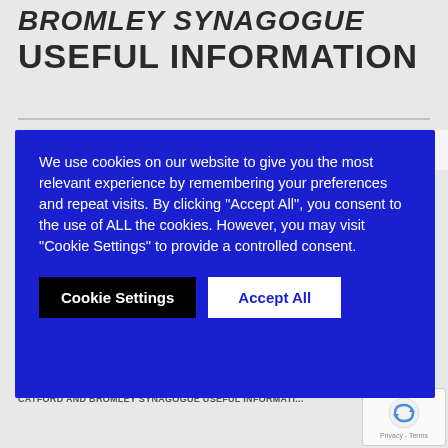BROMLEY SYNAGOGUE USEFUL INFORMATION
Posted on October 12, 2015   Posted By: Admin
We use cookies on our website to give you the most relevant experience by remembering your preferences and repeat visits. By clicking "Accept All", you consent to the use of ALL the cookies. However, you may visit "Cookie Settings" to provide a controlled consent.
Cookie Settings   Accept All
[Figure (photo): Ornamental synagogue gates with gold scrollwork patterns on dark background]
CATFORD AND BROMLEY SYNAGOGUE USEFUL INFORMATI...
[Figure (other): Google reCAPTCHA badge with Privacy - Terms text]